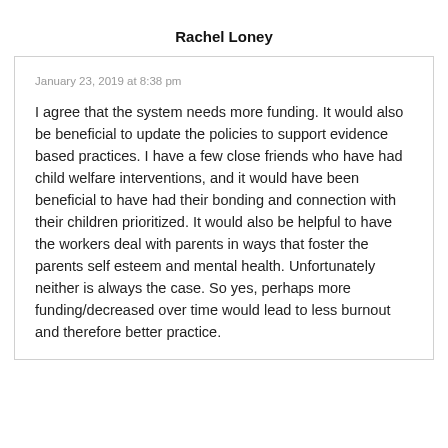Rachel Loney
January 23, 2019 at 8:38 pm
I agree that the system needs more funding. It would also be beneficial to update the policies to support evidence based practices. I have a few close friends who have had child welfare interventions, and it would have been beneficial to have had their bonding and connection with their children prioritized. It would also be helpful to have the workers deal with parents in ways that foster the parents self esteem and mental health. Unfortunately neither is always the case. So yes, perhaps more funding/decreased over time would lead to less burnout and therefore better practice.